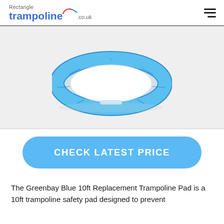Rectangle trampoline.co.uk
[Figure (photo): A blue circular 10ft trampoline safety/spring pad viewed from above against a light grey background]
CHECK LATEST PRICE
The Greenbay Blue 10ft Replacement Trampoline Pad is a 10ft trampoline safety pad designed to prevent